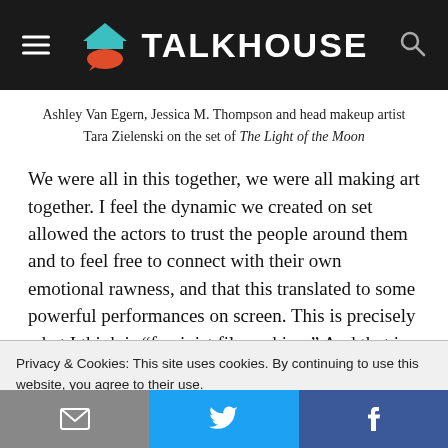TALKHOUSE
Ashley Van Egern, Jessica M. Thompson and head makeup artist Tara Zielenski on the set of The Light of the Moon
We were all in this together, we were all making art together. I feel the dynamic we created on set allowed the actors to trust the people around them and to feel free to connect with their own emotional rawness, and that this translated to some powerful performances on screen. This is precisely what I think is “feminist filmmaking.” And that is what I believe we need more of in
Privacy & Cookies: This site uses cookies. By continuing to use this website, you agree to their use.
To find out more, including how to control cookies, see here: Cookie Policy